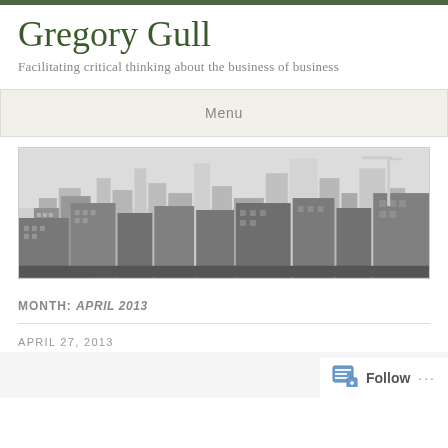Gregory Gull
Facilitating critical thinking about the business of business
Menu
[Figure (photo): Black and white aerial photo of a dense city skyline with skyscrapers]
MONTH: APRIL 2013
APRIL 27, 2013
Follow ...